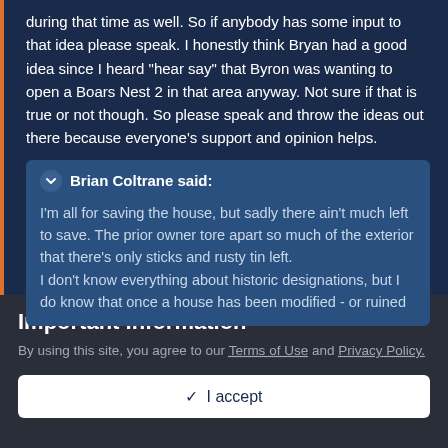during that time as well. So if anybody has some input to that idea please speak. I honestly think Bryan had a good idea since I heard "hear say" that Byron was wanting to open a Boars Nest 2 in that area anyway. Not sure if that is true or not though. So please speak and throw the ideas out there because everyone's support and opinion helps.
Brian Coltrane said: I'm all for saving the house, but sadly there ain't much left to save. The prior owner tore apart so much of the exterior that there's only sticks and rusty tin left. I don't know everything about historic designations, but I do know that once a house has been modified - or ruined
Important Information
By using this site, you agree to our Terms of Use and Privacy Policy.
✓ I accept